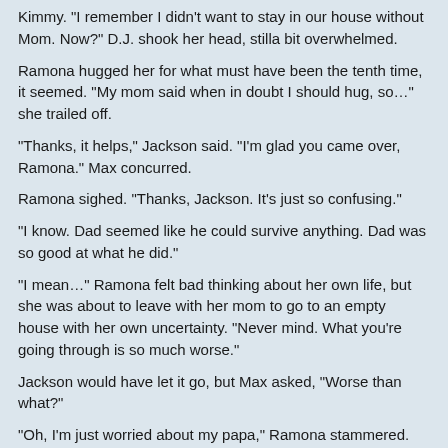Kimmy. "I remember I didn't want to stay in our house without Mom. Now?" D.J. shook her head, stilla bit overwhelmed.
Ramona hugged her for what must have been the tenth time, it seemed. "My mom said when in doubt I should hug, so…" she trailed off.
"Thanks, it helps," Jackson said. "I'm glad you came over, Ramona." Max concurred.
Ramona sighed. "Thanks, Jackson. It's just so confusing."
"I know. Dad seemed like he could survive anything. Dad was so good at what he did."
"I mean…" Ramona felt bad thinking about her own life, but she was about to leave with her mom to go to an empty house with her own uncertainty. "Never mind. What you're going through is so much worse."
Jackson would have let it go, but Max asked, "Worse than what?"
"Oh, I'm just worried about my papa," Ramona stammered. "But, you don't need to hear about that. Not with all those special memories we talked about with yours."
"You're right. We're all going through rough times. You did a great job